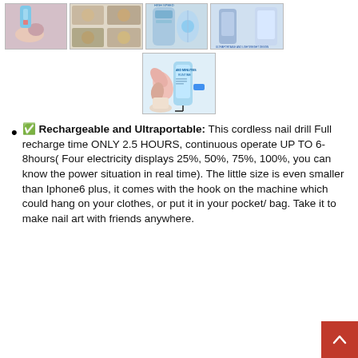[Figure (photo): Row of product images: nail drill in use on hand, multi-image collage of nail tools, high speed nail drill with UV light, nail drill machine photo, ultraportable device with phone comparison]
[Figure (photo): Single centered product image showing a blue rechargeable nail drill with '480 Minutes Runtime' text]
✅ Rechargeable and Ultraportable: This cordless nail drill Full recharge time ONLY 2.5 HOURS, continuous operate UP TO 6-8hours( Four electricity displays 25%, 50%, 75%, 100%, you can know the power situation in real time). The little size is even smaller than Iphone6 plus, it comes with the hook on the machine which could hang on your clothes, or put it in your pocket/ bag. Take it to make nail art with friends anywhere.